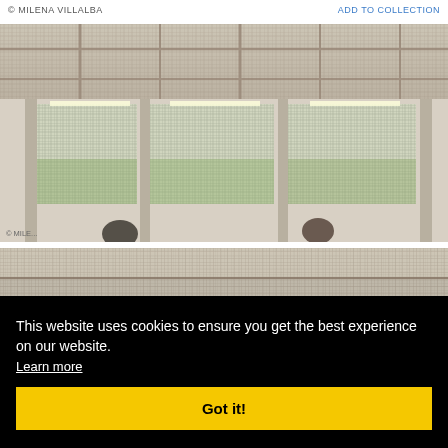© MILENA VILLALBA    ADD TO COLLECTION
[Figure (photo): Interior architectural photo showing a large room with a metal mesh ceiling and large mesh/wire windows looking out to greenery. Structural beams and columns visible. People silhouetted in lower portion.]
This website uses cookies to ensure you get the best experience on our website. Learn more
Got it!